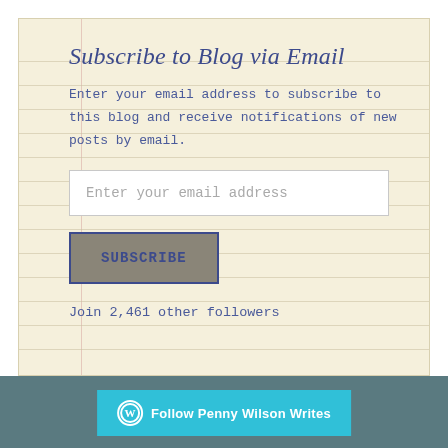Subscribe to Blog via Email
Enter your email address to subscribe to this blog and receive notifications of new posts by email.
[Figure (screenshot): Email address input field with placeholder text 'Enter your email address']
[Figure (screenshot): Subscribe button with gray background and blue border]
Join 2,461 other followers
[Figure (screenshot): Follow Penny Wilson Writes button in teal/cyan at bottom of page]